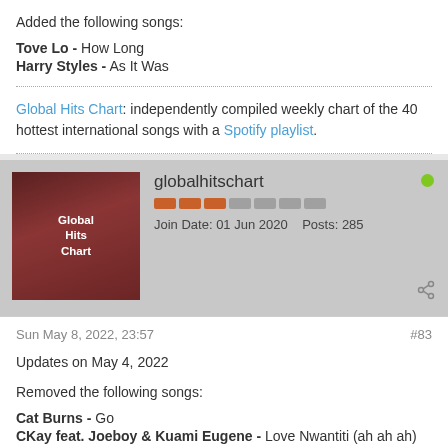Added the following songs:
Tove Lo - How Long
Harry Styles - As It Was
Global Hits Chart: independently compiled weekly chart of the 40 hottest international songs with a Spotify playlist.
[Figure (photo): Avatar/profile image for globalhitschart showing text 'Global Hits Chart' on dark red background]
globalhitschart
Join Date: 01 Jun 2020   Posts: 285
Sun May 8, 2022, 23:57   #83
Updates on May 4, 2022
Removed the following songs:
Cat Burns - Go
CKay feat. Joeboy & Kuami Eugene - Love Nwantiti (ah ah ah)